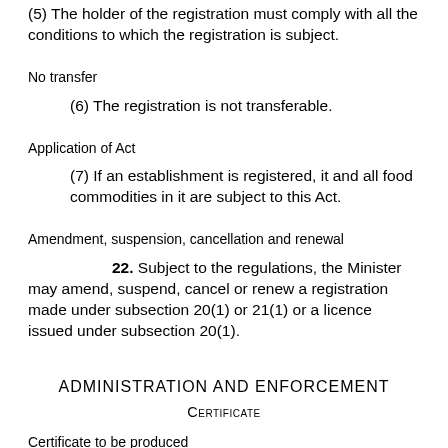(5) The holder of the registration must comply with all the conditions to which the registration is subject.
No transfer
(6) The registration is not transferable.
Application of Act
(7) If an establishment is registered, it and all food commodities in it are subject to this Act.
Amendment, suspension, cancellation and renewal
22. Subject to the regulations, the Minister may amend, suspend, cancel or renew a registration made under subsection 20(1) or 21(1) or a licence issued under subsection 20(1).
ADMINISTRATION AND ENFORCEMENT
Certificate
Certificate to be produced